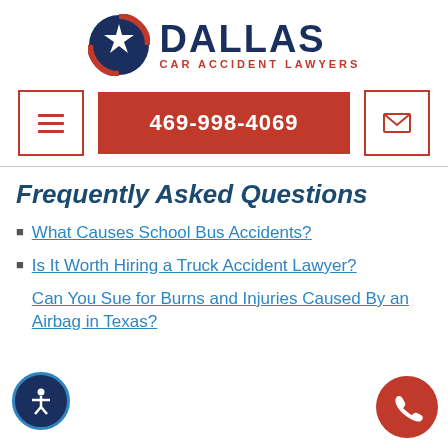[Figure (logo): Dallas Car Accident Lawyers logo with Texas flag star circle and bold text]
469-998-4069
Frequently Asked Questions
What Causes School Bus Accidents?
Is It Worth Hiring a Truck Accident Lawyer?
Can You Sue for Burns and Injuries Caused By an Airbag in Texas?